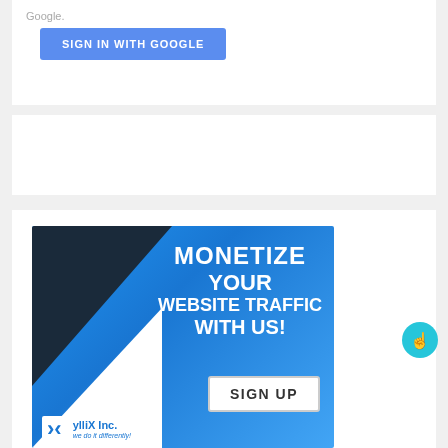Google.
[Figure (screenshot): Blue 'SIGN IN WITH GOOGLE' button]
[Figure (advertisement): ylliX Inc. advertisement: 'MONETIZE YOUR WEBSITE TRAFFIC WITH US! SIGN UP' with dark/blue geometric background and ylliX Inc. logo]
[Figure (other): Floating teal circular cursor/hand icon button]